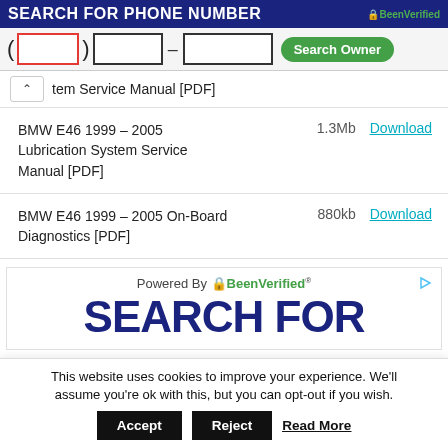SEARCH FOR PHONE NUMBER
[Figure (screenshot): Phone number search input fields with area code (red border), prefix, line number boxes, and green Search Owner button]
tem Service Manual [PDF]
BMW E46 1999 – 2005 Lubrication System Service Manual [PDF] | 1.3Mb | Download
BMW E46 1999 – 2005 On-Board Diagnostics [PDF] | 880kb | Download
[Figure (screenshot): Advertisement banner: Powered By BeenVerified logo, large text SEARCH FOR in dark blue]
This website uses cookies to improve your experience. We'll assume you're ok with this, but you can opt-out if you wish.
Accept | Reject | Read More